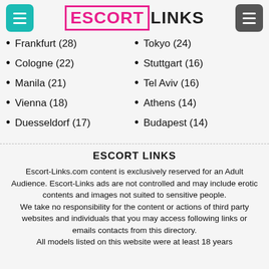ESCORT LINKS
Frankfurt (28)
Cologne (22)
Manila (21)
Vienna (18)
Duesseldorf (17)
Tokyo (24)
Stuttgart (16)
Tel Aviv (16)
Athens (14)
Budapest (14)
ESCORT LINKS
Escort-Links.com content is exclusively reserved for an Adult Audience. Escort-Links ads are not controlled and may include erotic contents and images not suited to sensitive people.
We take no responsibility for the content or actions of third party websites and individuals that you may access following links or emails contacts from this directory.
All models listed on this website were at least 18 years